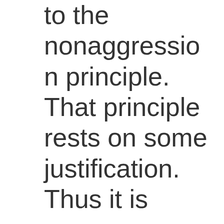to the nonaggressi on principle. That principle rests on some justification. Thus it is